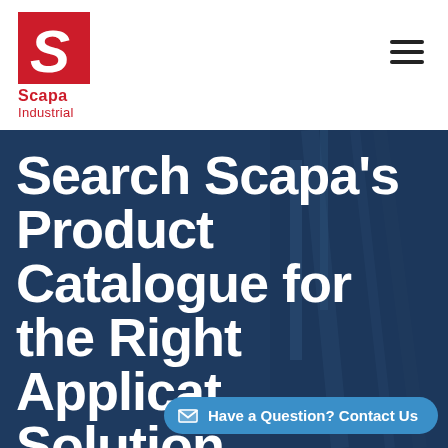[Figure (logo): Scapa Industrial logo: red square with white italic S, with 'Scapa' and 'Industrial' text in red below]
Search Scapa's Product Catalogue for the Right Application Solution
Have a Question? Contact Us